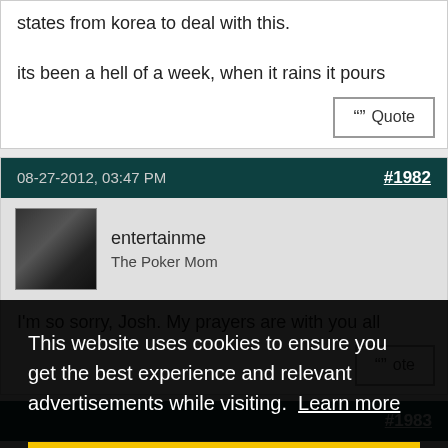states from korea to deal with this.
its been a hell of a week, when it rains it pours
08-27-2012, 03:47 PM
#1982
entertainme
The Poker Mom
I'm so sorry, Josh. My prayers are with you all
#1983
ly.
This website uses cookies to ensure you get the best experience and relevant advertisements while visiting.  Learn more
Got it!